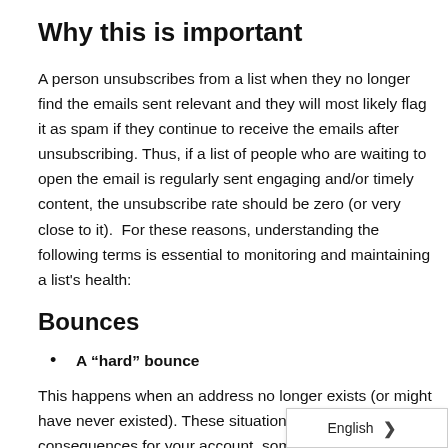Why this is important
A person unsubscribes from a list when they no longer find the emails sent relevant and they will most likely flag it as spam if they continue to receive the emails after unsubscribing. Thus, if a list of people who are waiting to open the email is regularly sent engaging and/or timely content, the unsubscribe rate should be zero (or very close to it).  For these reasons, understanding the following terms is essential to monitoring and maintaining a list's health:
Bounces
A “hard” bounce
This happens when an address no longer exists (or might have never existed). These situations can have dramatic consequences for your account, sometimes ev… suspension, all hard bounces will be removed f…